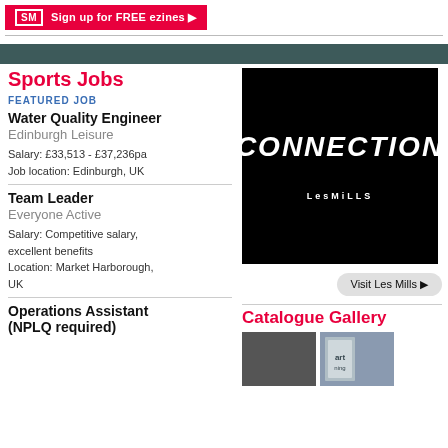SM  Sign up for FREE ezines ▶
Sports Jobs
FEATURED JOB
Water Quality Engineer
Edinburgh Leisure
Salary: £33,513 - £37,236pa
Job location: Edinburgh, UK
Team Leader
Everyone Active
Salary: Competitive salary, excellent benefits
Location: Market Harborough, UK
Operations Assistant (NPLQ required)
[Figure (illustration): Black background advertisement with large bold white italic text 'CONNECTION' and 'LESMILLS' branding at bottom]
Visit Les Mills ▶
Catalogue Gallery
[Figure (photo): Two small catalogue thumbnail images]